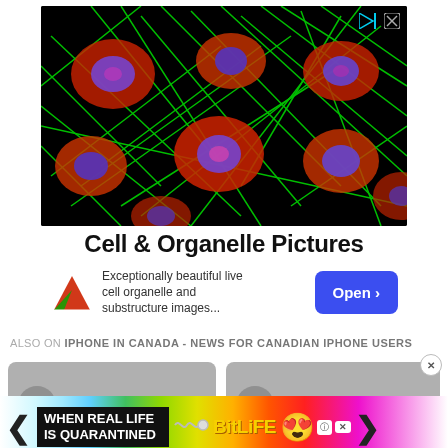[Figure (photo): Fluorescence microscopy image of cells on black background showing green cytoskeletal fibers, red cytoplasm, and blue/purple nuclei. Advertisement for Cell & Organelle Pictures with play and close icons in top-right corner.]
Cell & Organelle Pictures
Exceptionally beautiful live cell organelle and substructure images...
Open >
ALSO ON IPHONE IN CANADA - NEWS FOR CANADIAN IPHONE USERS
[Figure (screenshot): Two gray placeholder article cards with circular avatar placeholders and a bottom banner advertisement for BitLife game reading WHEN REAL LIFE IS QUARANTINED with rainbow background, left and right navigation arrows.]